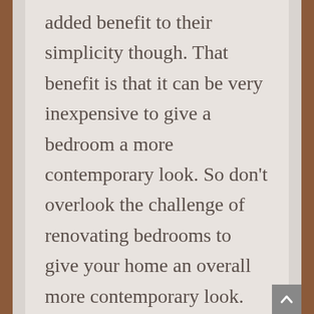added benefit to their simplicity though. That benefit is that it can be very inexpensive to give a bedroom a more contemporary look. So don't overlook the challenge of renovating bedrooms to give your home an overall more contemporary look.
Winter Park Custom Home Builder For Your